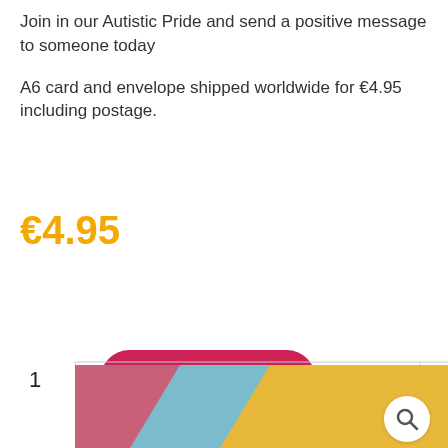Join in our Autistic Pride and send a positive message to someone today
A6 card and envelope shipped worldwide for €4.95 including postage.
€4.95
1
Add to cart
[Figure (photo): Colorful card product image showing pink, blue, and golden yellow geometric shapes at the bottom of the page with a magnifying glass icon]